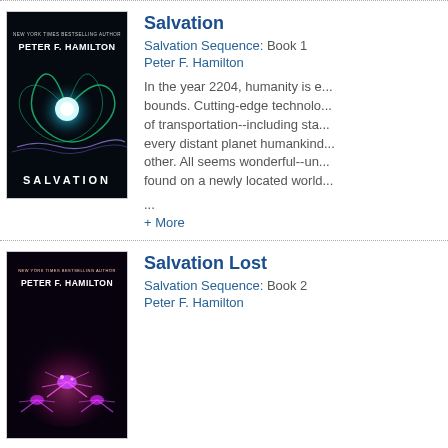[Figure (illustration): Book cover of 'Salvation' by Peter F. Hamilton - dark background with glowing blue-green spiral/vortex energy pattern and the text 'NEW YORK TIMES BESTSELLING AUTHOR PETER F. HAMILTON' and 'SALVATION']
Salvation
Salvation Sequence: Book 1
Peter F. Hamilton
In the year 2204, humanity is e... bounds. Cutting-edge technolo... of transportation--including sta... every distant planet humankind... other. All seems wonderful--un... found on a newly located world...
... + More
[Figure (illustration): Book cover of 'Salvation Lost' by Peter F. Hamilton - dark background with glowing pink/purple alien spider-like creatures and the text 'NEW YORK TIMES BESTSELLING AUTHOR PETER F. HAMILTON']
Salvation Lost
Salvation Sequence: Book 2
Peter F. Hamilton